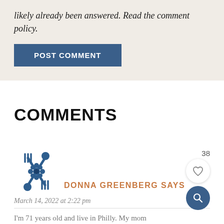likely already been answered. Read the comment policy.
POST COMMENT
COMMENTS
DONNA GREENBERG SAYS
March 14, 2022 at 2:22 pm
I'm 71 years old and live in Philly. My mom